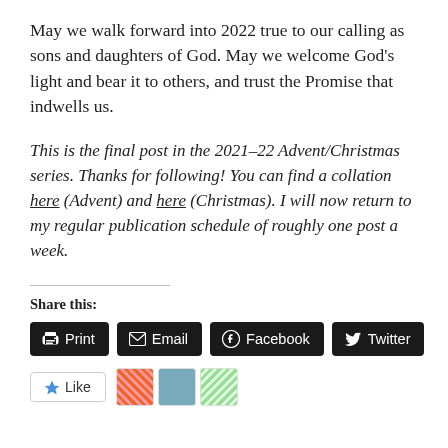May we walk forward into 2022 true to our calling as sons and daughters of God. May we welcome God’s light and bear it to others, and trust the Promise that indwells us.
This is the final post in the 2021–22 Advent/Christmas series. Thanks for following! You can find a collation here (Advent) and here (Christmas). I will now return to my regular publication schedule of roughly one post a week.
Share this:
[Figure (infographic): Row of share buttons: Print, Email, Facebook, Twitter]
[Figure (infographic): Like button and three avatar thumbnails]